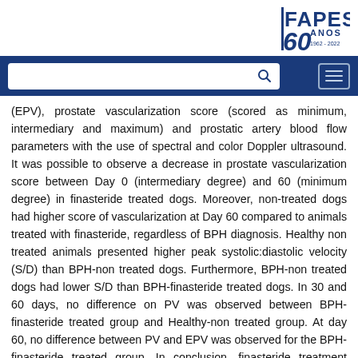[Figure (logo): FAPESP 60 Anos logo in the top right corner]
[Figure (screenshot): Navigation bar with search box and hamburger menu on dark blue background]
(EPV), prostate vascularization score (scored as minimum, intermediary and maximum) and prostatic artery blood flow parameters with the use of spectral and color Doppler ultrasound. It was possible to observe a decrease in prostate vascularization score between Day 0 (intermediary degree) and 60 (minimum degree) in finasteride treated dogs. Moreover, non-treated dogs had higher score of vascularization at Day 60 compared to animals treated with finasteride, regardless of BPH diagnosis. Healthy non treated animals presented higher peak systolic:diastolic velocity (S/D) than BPH-non treated dogs. Furthermore, BPH-non treated dogs had lower S/D than BPH-finasteride treated dogs. In 30 and 60 days, no difference on PV was observed between BPH-finasteride treated group and Healthy-non treated group. At day 60, no difference between PV and EPV was observed for the BPH-finasteride treated group. In conclusion, finasteride treatment reduces simultaneously the volume, local vascularization and blood flow of the prostate, thus being considered an effective and